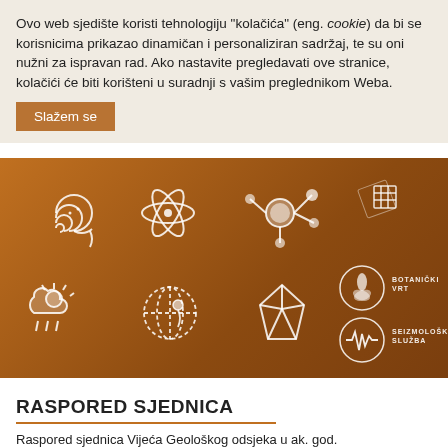Ovo web sjedište koristi tehnologiju "kolačića" (eng. cookie) da bi se korisnicima prikazao dinamičan i personaliziran sadržaj, te su oni nužni za ispravan rad. Ako nastavite pregledavati ove stranice, kolačići će biti korišteni u suradnji s vašim preglednikom Weba.
Slažem se
[Figure (illustration): Gradient brown/orange banner with 8 white science/nature icons arranged in two rows: snail shell, atom, molecule network, satellite, weather/cloud with rain, globe with location pin, diamond gem, and two circular icons labeled BOTANIČKI VRT and SEIZMOLOŠKA SLUŽBA]
RASPORED SJEDNICA
Raspored sjednica Vijeća Geološkog odsjeka u ak. god. 2021./22. nalazi se ovdje.